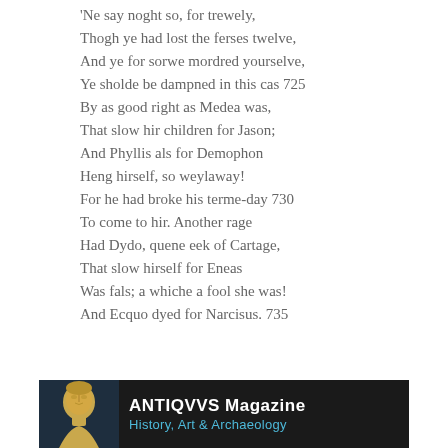'Ne say noght so, for trewely,
Thogh ye had lost the ferses twelve,
And ye for sorwe mordred yourselve,
Ye sholde be dampned in this cas 725
By as good right as Medea was,
That slow hir children for Jason;
And Phyllis als for Demophon
Heng hirself, so weylaway!
For he had broke his terme-day 730
To come to hir. Another rage
Had Dydo, quene eek of Cartage,
That slow hirself for Eneas
Was fals; a whiche a fool she was!
And Ecquo dyed for Narcisus. 735
[Figure (logo): ANTIQVVS Magazine advertisement banner with a golden Roman bust on the left against a dark blue background, with white bold text 'ANTIQVVS Magazine' and teal text 'History, Art & Archaeology' on a black background.]